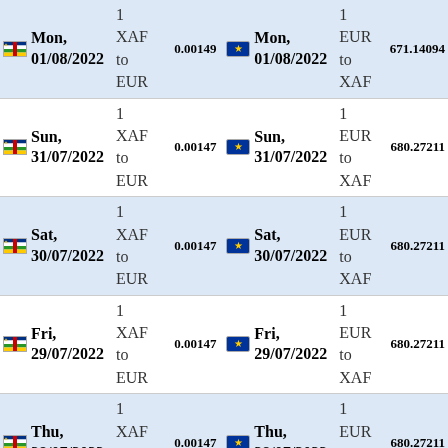| Date (XAF) | 1 XAF to EUR | Rate | Date (EUR) | 1 EUR to XAF | Value |
| --- | --- | --- | --- | --- | --- |
| Mon, 01/08/2022 | 1 XAF to EUR | 0.00149 | Mon, 01/08/2022 | 1 EUR to XAF | 671.14094 |
| Sun, 31/07/2022 | 1 XAF to EUR | 0.00147 | Sun, 31/07/2022 | 1 EUR to XAF | 680.27211 |
| Sat, 30/07/2022 | 1 XAF to EUR | 0.00147 | Sat, 30/07/2022 | 1 EUR to XAF | 680.27211 |
| Fri, 29/07/2022 | 1 XAF to EUR | 0.00147 | Fri, 29/07/2022 | 1 EUR to XAF | 680.27211 |
| Thu, 28/07/2022 | 1 XAF to EUR | 0.00147 | Thu, 28/07/2022 | 1 EUR to XAF | 680.27211 |
| Wed, 27/07/2022 | 1 XAF to EUR | 0.00148 | Wed, 27/07/2022 | 1 EUR to XAF | 675.67568 |
| Tue, 26/07/2022 | 1 XAF to EUR | 0.00149 | Tue, 26/07/2022 | 1 EUR to XAF | 671.14094 |